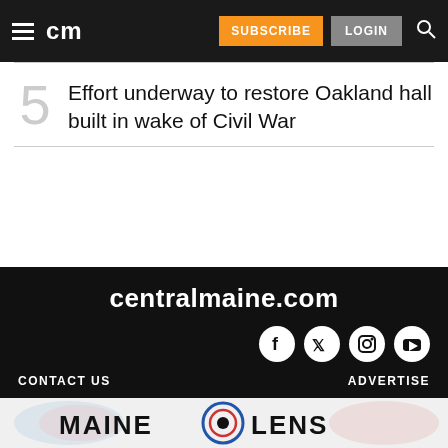cm | SUBSCRIBE | LOGIN
Effort underway to restore Oakland hall built in wake of Civil War
centralmaine.com | CONTACT US | ADVERTISE
[Figure (logo): MAINE LENS advertisement banner with circular logo]